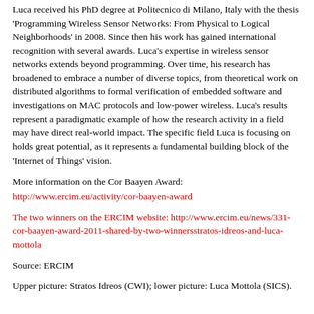Luca received his PhD degree at Politecnico di Milano, Italy with the thesis 'Programming Wireless Sensor Networks: From Physical to Logical Neighborhoods' in 2008. Since then his work has gained international recognition with several awards. Luca's expertise in wireless sensor networks extends beyond programming. Over time, his research has broadened to embrace a number of diverse topics, from theoretical work on distributed algorithms to formal verification of embedded software and investigations on MAC protocols and low-power wireless. Luca's results represent a paradigmatic example of how the research activity in a field may have direct real-world impact. The specific field Luca is focusing on holds great potential, as it represents a fundamental building block of the 'Internet of Things' vision.
More information on the Cor Baayen Award:
http://www.ercim.eu/activity/cor-baayen-award
The two winners on the ERCIM website: http://www.ercim.eu/news/331-cor-baayen-award-2011-shared-by-two-winnersstratos-idreos-and-luca-mottola
Source: ERCIM
Upper picture: Stratos Idreos (CWI); lower picture: Luca Mottola (SICS).